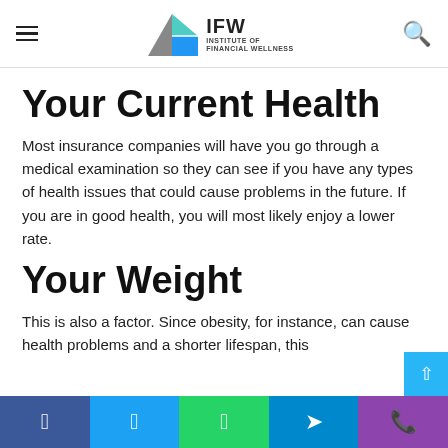IFW Institute of Financial Wellness
Your Current Health
Most insurance companies will have you go through a medical examination so they can see if you have any types of health issues that could cause problems in the future. If you are in good health, you will most likely enjoy a lower rate.
Your Weight
This is also a factor. Since obesity, for instance, can cause health problems and a shorter lifespan, this
Facebook  Twitter  WhatsApp  Telegram  Phone